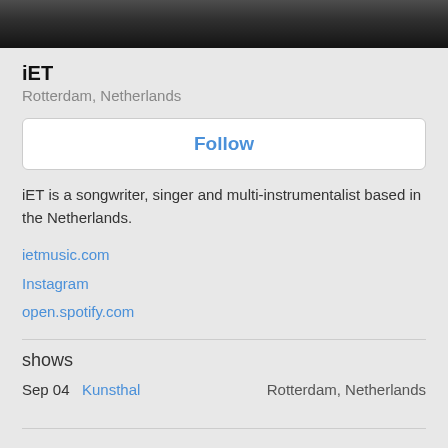[Figure (photo): Black and white photo of a person, cropped at top]
iET
Rotterdam, Netherlands
Follow
iET is a songwriter, singer and multi-instrumentalist based in the Netherlands.
ietmusic.com
Instagram
open.spotify.com
shows
Sep 04   Kunsthal   Rotterdam, Netherlands
discography